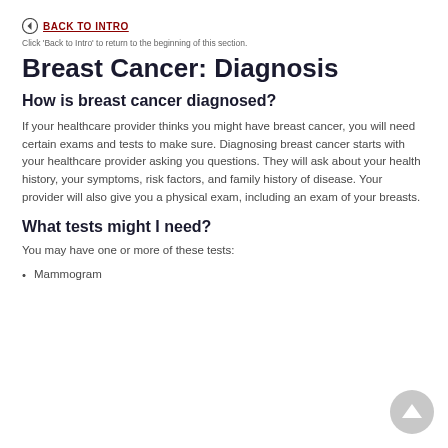BACK TO INTRO
Click 'Back to Intro' to return to the beginning of this section.
Breast Cancer: Diagnosis
How is breast cancer diagnosed?
If your healthcare provider thinks you might have breast cancer, you will need certain exams and tests to make sure. Diagnosing breast cancer starts with your healthcare provider asking you questions. They will ask about your health history, your symptoms, risk factors, and family history of disease. Your provider will also give you a physical exam, including an exam of your breasts.
What tests might I need?
You may have one or more of these tests:
Mammogram